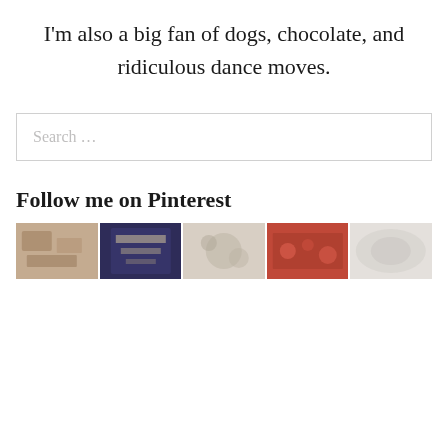I'm also a big fan of dogs, chocolate, and ridiculous dance moves.
Search…
Follow me on Pinterest
[Figure (photo): A horizontal strip of Pinterest photos showing various food and lifestyle images.]